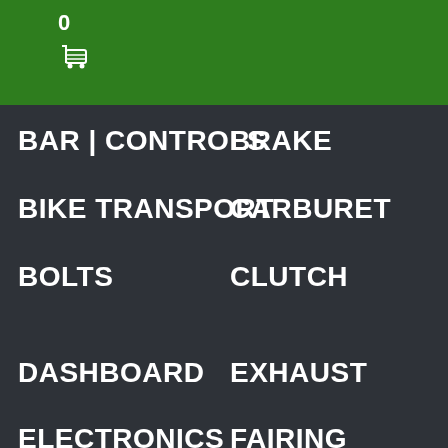0 [cart icon]
BAR | CONTROLS
BRAKE
BIKE TRANSPORT
CARBURETOR
BOLTS
CLUTCH
DASHBOARD
EXHAUST
ELECTRONICS
FAIRING
ENGINE
FRAME